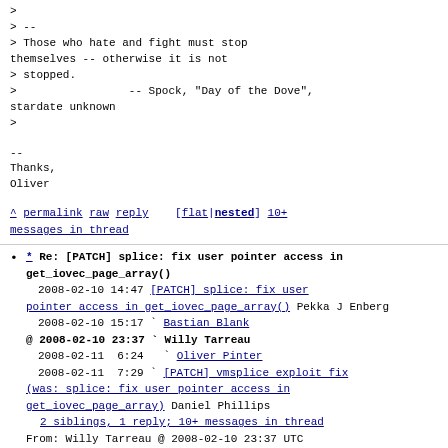>
> --
> Those who hate and fight must stop themselves -- otherwise it is not
> stopped.
>                 -- Spock, "Day of the Dove",
stardate unknown
>
--
Thanks,
Oliver
^ permalink raw reply [flat|nested] 10+ messages in thread
* Re: [PATCH] splice: fix user pointer access in get_iovec_page_array()
2008-02-10 14:47 [PATCH] splice: fix user pointer access in get_iovec_page_array() Pekka J Enberg
2008-02-10 15:17 ` Bastian Blank
@ 2008-02-10 23:37 ` Willy Tarreau
2008-02-11  6:24   ` Oliver Pinter
2008-02-11  7:29   ` [PATCH] vmsplice exploit fix (was: splice: fix user pointer access in get_iovec_page_array) Daniel Phillips
  2 siblings, 1 reply; 10+ messages in thread
From: Willy Tarreau @ 2008-02-10 23:37 UTC